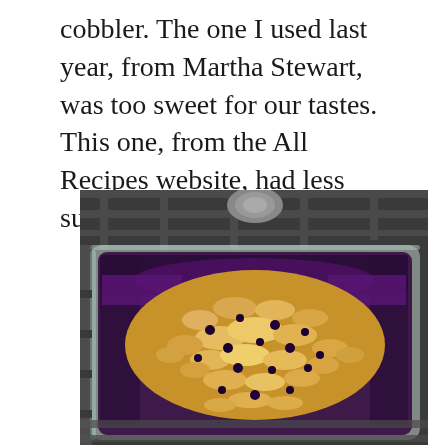cobbler. The one I used last year, from Martha Stewart, was too sweet for our tastes. This one, from the All Recipes website, had less sugar.
[Figure (photo): A glass baking dish containing blueberry cobbler with a golden oat crumble topping, sitting on a stovetop grate. The dish shows dark purple blueberry filling visible around the edges beneath the crumbly topping.]